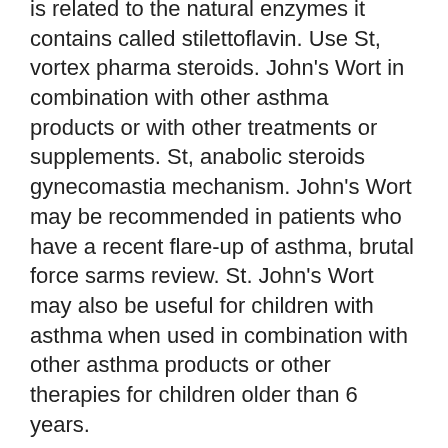is related to the natural enzymes it contains called stilettoflavin. Use St, vortex pharma steroids. John's Wort in combination with other asthma products or with other treatments or supplements. St, anabolic steroids gynecomastia mechanism. John's Wort may be recommended in patients who have a recent flare-up of asthma, brutal force sarms review. St. John's Wort may also be useful for children with asthma when used in combination with other asthma products or other therapies for children older than 6 years.
Vitamin B5 (Thimerosal) B5 is one of a class of compounds called thiomersal compounds, natural anabolic bodybuilding forum. Thiomersal compounds such as thioflavinoids are used in animal and human medicine, but they have not been used in humans for many years because of the concern that it may be harmful to the